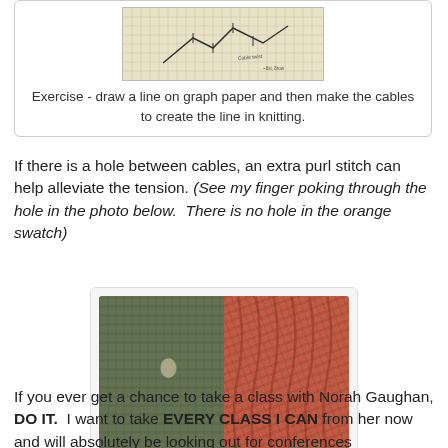[Figure (photo): Graph paper with a drawn line and cable knitting exercise sketch]
Exercise - draw a line on graph paper and then make the cables to create the line in knitting.
If there is a hole between cables, an extra purl stitch can help alleviate the tension. (See my finger poking through the hole in the photo below.  There is no hole in the orange swatch)
[Figure (photo): Two knitting swatches side by side: olive/green swatch on left with a hole visible, orange/terracotta cable knit swatch on right with no hole]
If you ever get a chance to take a class with Norah Gaughan, DO IT.  I want to take EVERY CLASS I CAN from her now and will absolutely be looking out for conferences